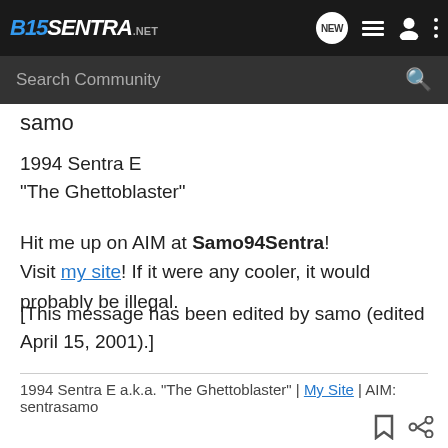B15 SENTRA .NET
samo
1994 Sentra E
"The Ghettoblaster"
Hit me up on AIM at Samo94Sentra!
Visit my site! If it were any cooler, it would probably be illegal.
[This message has been edited by samo (edited April 15, 2001).]
1994 Sentra E a.k.a. "The Ghettoblaster" | My Site | AIM: sentrasamo